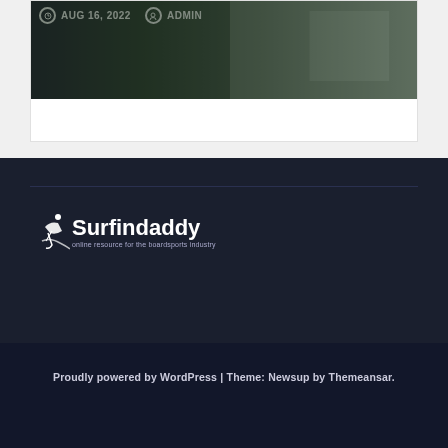[Figure (photo): A card with a dark street/traffic scene photo. Metadata shows AUG 16, 2022 and ADMIN overlaid on the image top-left.]
AUG 16, 2022   ADMIN
[Figure (logo): Surfindaddy logo — surfer icon with text 'Surfindaddy' and tagline 'online resource for the boardsports industry' on dark navy background]
Proudly powered by WordPress | Theme: Newsup by Themeansar.
Home   Choose your Sport   Connections Marketpl…